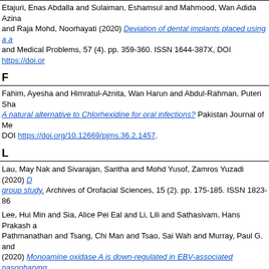Etajuri, Enas Abdalla and Sulaiman, Eshamsul and Mahmood, Wan Adida Azina and Raja Mohd, Noorhayati (2020) Deviation of dental implants placed using a ... and Medical Problems, 57 (4). pp. 359-360. ISSN 1644-387X, DOI https://doi.or
F
Fahim, Ayesha and Himratul-Aznita, Wan Harun and Abdul-Rahman, Puteri Sha... A natural alternative to Chlorhexidine for oral infections? Pakistan Journal of Me... DOI https://doi.org/10.12669/pjms.36.2.1457.
L
Lau, May Nak and Sivarajan, Saritha and Mohd Yusof, Zamros Yuzadi (2020) D... group study. Archives of Orofacial Sciences, 15 (2). pp. 175-185. ISSN 1823-86
Lee, Hui Min and Sia, Alice Pei Eal and Li, Lili and Sathasivam, Hans Prakash a... Pathmanathan and Tsang, Chi Man and Tsao, Sai Wah and Murray, Paul G. and... (2020) Monoamine oxidase A is down-regulated in EBV-associated nasopharyng... 2045-2322, DOI https://doi.org/10.1038/s41598-020-63150-0.
M
Mahmoud, Okba and Al-Meeri, Walid Ali and Farook, Mohideen Salihu and Al-A... Cements as Root Canal Medicament. Clinical, Cosmetic and Investigational De... https://doi.org/10.2147/ccide.S241015.